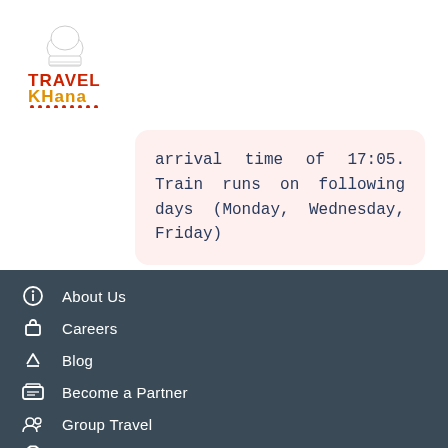[Figure (logo): TravelKhana logo with chef hat icon above red and orange text]
arrival time of 17:05. Train runs on following days (Monday, Wednesday, Friday)
About Us
Careers
Blog
Become a Partner
Group Travel
Contact Us
Site Map